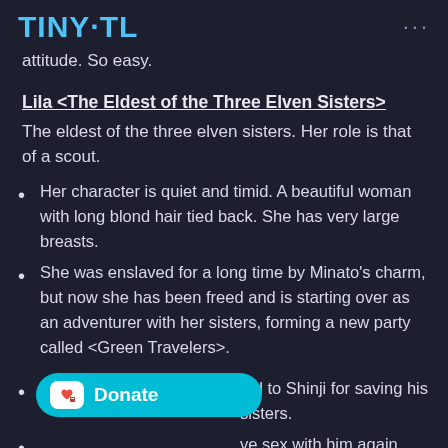TINY·TL
attitude. So easy.
Lila <The Eldest of the Three Elven Sisters>
The eldest of the three elven sisters. Her role is that of a scout.
Her character is quiet and timid. A beautiful woman with long blond hair tied back. She has very large breasts.
She was enslaved for a long time by Minato's charm, but now she has been freed and is starting over as an adventurer with her sisters, forming a new party called <Green Travelers>.
ted to Shinji for saving his sisters.
ve sex with him again because
she felt so happy when she had sex with him to